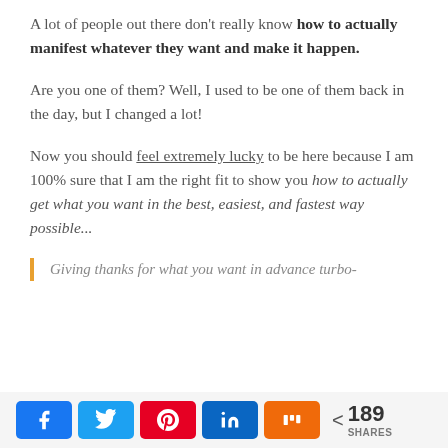A lot of people out there don't really know how to actually manifest whatever they want and make it happen.
Are you one of them? Well, I used to be one of them back in the day, but I changed a lot!
Now you should feel extremely lucky to be here because I am 100% sure that I am the right fit to show you how to actually get what you want in the best, easiest, and fastest way possible...
Giving thanks for what you want in advance turbo-